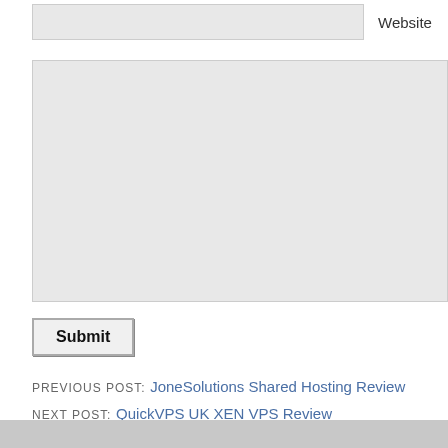[Figure (screenshot): Website input field (text box, partially visible, greyed out) with label 'Website' to the right]
[Figure (screenshot): Large textarea input box (greyed out, empty) for comment/message entry]
Submit
PREVIOUS POST: JoneSolutions Shared Hosting Review
NEXT POST: QuickVPS UK XEN VPS Review